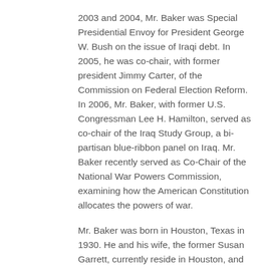2003 and 2004, Mr. Baker was Special Presidential Envoy for President George W. Bush on the issue of Iraqi debt. In 2005, he was co-chair, with former president Jimmy Carter, of the Commission on Federal Election Reform. In 2006, Mr. Baker, with former U.S. Congressman Lee H. Hamilton, served as co-chair of the Iraq Study Group, a bi-partisan blue-ribbon panel on Iraq. Mr. Baker recently served as Co-Chair of the National War Powers Commission, examining how the American Constitution allocates the powers of war.
Mr. Baker was born in Houston, Texas in 1930. He and his wife, the former Susan Garrett, currently reside in Houston, and have eight children and seventeen grandchildren.